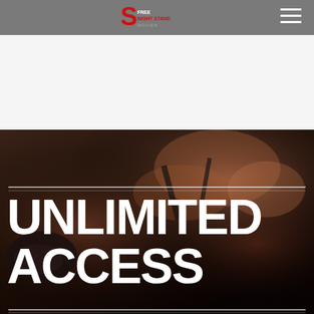Free Night Stand — website header with logo and hamburger menu
[Figure (photo): Dark sensual photo of a person in black lingerie with leather accessories, another hand visible, moody low-key lighting]
UNLIMITED ACCESS